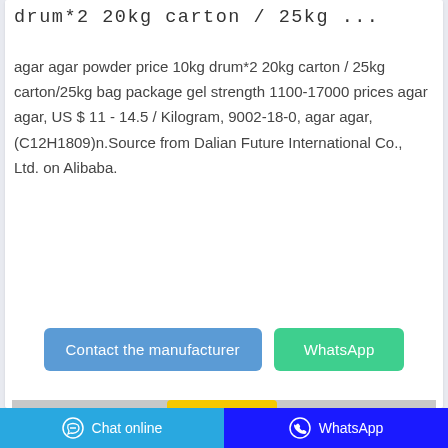drum*2 20kg carton / 25kg ...
agar agar powder price 10kg drum*2 20kg carton / 25kg carton/25kg bag package gel strength 1100-17000 prices agar agar, US $ 11 - 14.5 / Kilogram, 9002-18-0, agar agar, (C12H1809)n.Source from Dalian Future International Co., Ltd. on Alibaba.
[Figure (screenshot): Blue 'Contact the manufacturer' button and green 'WhatsApp' button]
[Figure (photo): Product photo showing a yellow bag of agar agar powder with a label on a gray background]
Chat online | WhatsApp